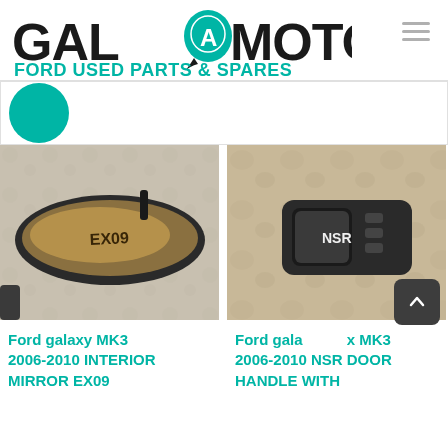[Figure (logo): Gala Motors logo with teal circular emblem containing letter A, text 'GALOMOTORS' in black bold, and tagline 'FORD USED PARTS & SPARES' in teal]
[Figure (photo): Ford Galaxy MK3 interior rear-view mirror with 'EX09' written on it, placed on stone surface]
Ford galaxy MK3 2006-2010 INTERIOR MIRROR EX09
[Figure (photo): Ford Galaxy MK3 NSR door handle with window control buttons, labeled 'NSR', placed on stone surface]
Ford galaxy MK3 2006-2010 NSR DOOR HANDLE WITH